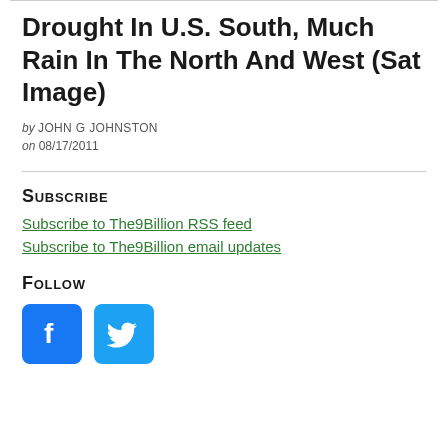Drought In U.S. South, Much Rain In The North And West (Sat Image)
by JOHN G JOHNSTON
on 08/17/2011
Subscribe
Subscribe to The9Billion RSS feed
Subscribe to The9Billion email updates
Follow
[Figure (illustration): Facebook and Twitter social media icon buttons]